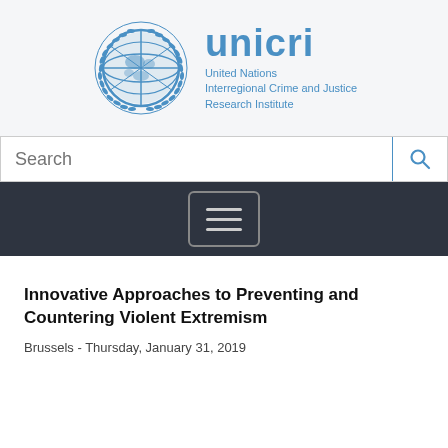[Figure (logo): UNICRI logo: UN emblem globe with laurel branches in blue, next to 'unicri' text in blue and 'United Nations Interregional Crime and Justice Research Institute' subtitle]
Innovative Approaches to Preventing and Countering Violent Extremism
Brussels - Thursday, January 31, 2019